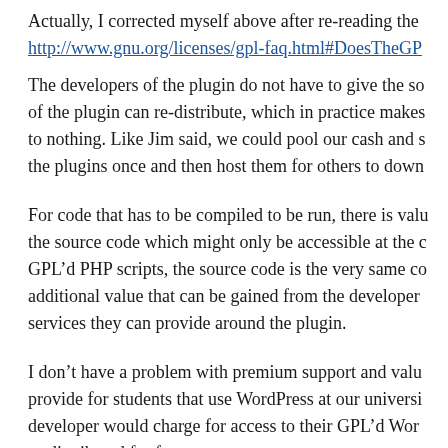Actually, I corrected myself above after re-reading the http://www.gnu.org/licenses/gpl-faq.html#DoesTheGP
The developers of the plugin do not have to give the so of the plugin can re-distribute, which in practice makes to nothing. Like Jim said, we could pool our cash and s the plugins once and then host them for others to down
For code that has to be compiled to be run, there is valu the source code which might only be accessible at the c GPL’d PHP scripts, the source code is the very same co additional value that can be gained from the developer services they can provide around the plugin.
I don’t have a problem with premium support and valu provide for students that use WordPress at our universi developer would charge for access to their GPL’d Wor re-distributed for free.
Reply